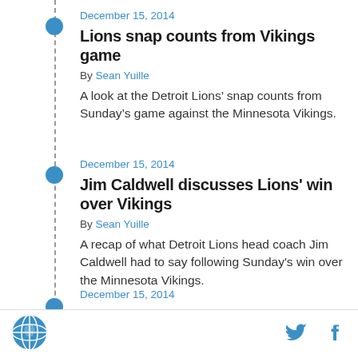December 15, 2014
Lions snap counts from Vikings game
By Sean Yuille
A look at the Detroit Lions’ snap counts from Sunday’s game against the Minnesota Vikings.
December 15, 2014
Jim Caldwell discusses Lions' win over Vikings
By Sean Yuille
A recap of what Detroit Lions head coach Jim Caldwell had to say following Sunday's win over the Minnesota Vikings.
December 15, 2014
[Figure (logo): Circular globe/world logo icon in blue and white]
[Figure (logo): Twitter bird icon in blue]
[Figure (logo): Facebook f icon in blue]